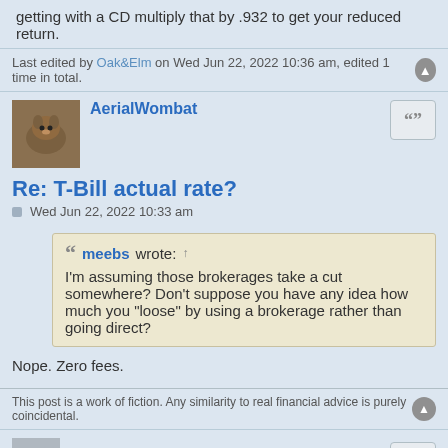getting with a CD multiply that by .932 to get your reduced return.
Last edited by Oak&Elm on Wed Jun 22, 2022 10:36 am, edited 1 time in total.
AerialWombat
Re: T-Bill actual rate?
Wed Jun 22, 2022 10:33 am
meebs wrote: ↑ I'm assuming those brokerages take a cut somewhere? Don't suppose you have any idea how much you "loose" by using a brokerage rather than going direct?
Nope. Zero fees.
This post is a work of fiction. Any similarity to real financial advice is purely coincidental.
Tubes
Re: T-Bill actual rate?